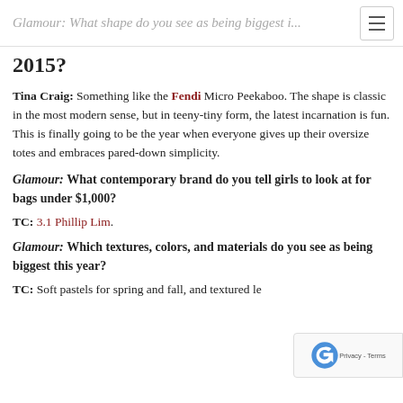Glamour: What shape do you see as being biggest i...
2015?
Tina Craig: Something like the Fendi Micro Peekaboo. The shape is classic in the most modern sense, but in teeny-tiny form, the latest incarnation is fun. This is finally going to be the year when everyone gives up their oversize totes and embraces pared-down simplicity.
Glamour: What contemporary brand do you tell girls to look at for bags under $1,000?
TC: 3.1 Phillip Lim.
Glamour: Which textures, colors, and materials do you see as being biggest this year?
TC: Soft pastels for spring and fall, and textured le...